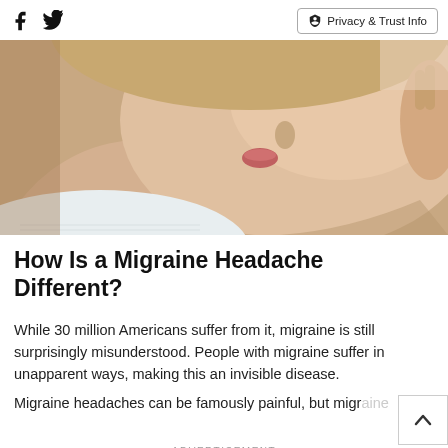Facebook Twitter | Privacy & Trust Info
[Figure (photo): Close-up photo of a woman holding her head in pain, suggesting a migraine headache. She is looking downward with her hand pressed to her temple.]
How Is a Migraine Headache Different?
While 30 million Americans suffer from it, migraine is still surprisingly misunderstood. People with migraine suffer in unapparent ways, making this an invisible disease.
Migraine headaches can be famously painful, but migraine
ADVERTISEMENT
[Figure (infographic): Advertisement banner: Up To $75 Off Goodyear Tires — VirginiaTire & Auto of Ashburn Fa.]